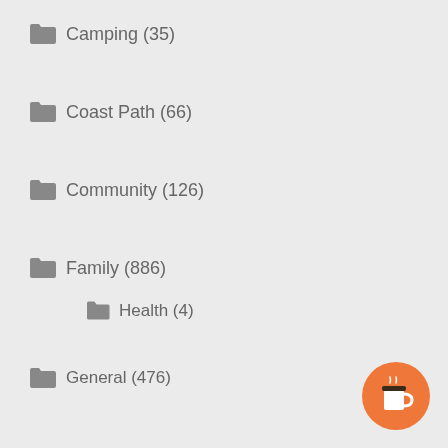Camping (35)
Coast Path (66)
Community (126)
Family (886)
Health (4)
General (476)
Hobbies & Pastimes (802)
Aquarium (38)
Band (11)
Beekeeping (215)
[Figure (illustration): Orange circular button with coffee cup icon (Ko-fi style donation button)]